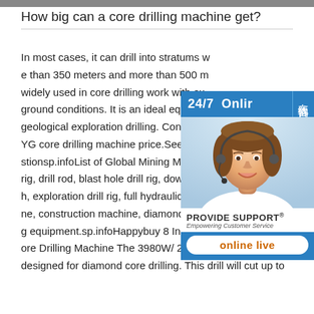How big can a core drilling machine get?
In most cases, it can drill into stratums w e than 350 meters and more than 500 m widely used in core drilling work with ex ground conditions. It is an ideal equipme geological exploration drilling. Contact u YG core drilling machine price.See all re stionsp.infoList of Global Mining Machin rig, drill rod, blast hole drill rig, down the h, exploration drill rig, full hydraulic drill rig, mining machine, construction machine, diamond core bit, drilling, drilling equipment.sp.infoHappybuy 8 Inch/205MM Diamond Core Drilling Machine The 3980W/ 205 mm Core Drilling is designed for diamond core drilling. This drill will cut up to
[Figure (screenshot): Customer service widget showing 24/7 Online chat option with a female customer service representative wearing a headset. Blue banner at top reads '24/7 Onli...' with Chinese characters '在线咨询' on the right side. Below the photo is 'PROVIDE SUPPORT® Empowering Customer Service' text, followed by a blue bar with an 'online live' button.]